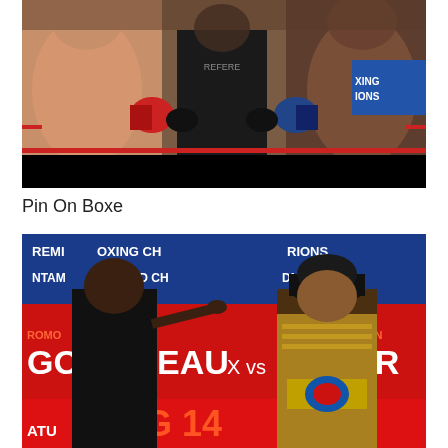[Figure (photo): Two fighters facing each other before a boxing match, with a referee in the center wearing a black shirt labeled REFEREE. One fighter has red gloves, the other blue gloves. Boxing Champions signage visible in background.]
Pin On Boxe
[Figure (photo): Two boxers facing off at a press conference or weigh-in. Background banner reads PREMIER BOXING CHAMPIONS, BANTAMWEIGHT WORLD CHAMPIONSHIP, GONZALEZ vs CARTER, AUG 14, 7PM. One man in black t-shirt pointing finger, the other wearing a championship belt and decorative jacket.]